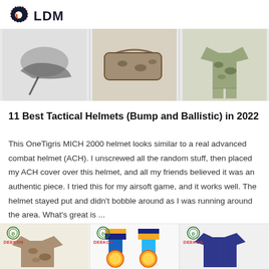LDM
[Figure (photo): Top strip showing military/tactical product photos: black tactical item on left, camouflage bag/case in center, camouflage uniform set on right]
11 Best Tactical Helmets (Bump and Ballistic) in 2022
This OneTigris MICH 2000 helmet looks similar to a real advanced combat helmet (ACH). I unscrewed all the random stuff, then placed my ACH cover over this helmet, and all my friends believed it was an authentic piece. I tried this for my airsoft game, and it works well. The helmet stayed put and didn't bobble around as I was running around the area. What's great is ...
[Figure (photo): Bottom strip showing three Deekon branded product photos: camouflage jacket on left, military medals/awards in center, dark navy uniform jacket on right]